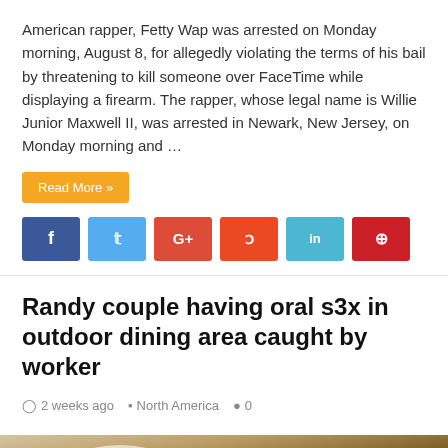American rapper, Fetty Wap was arrested on Monday morning, August 8, for allegedly violating the terms of his bail by threatening to kill someone over FaceTime while displaying a firearm. The rapper, whose legal name is Willie Junior Maxwell II, was arrested in Newark, New Jersey, on Monday morning and …
Read More »
Randy couple having oral s3x in outdoor dining area caught by worker
2 weeks ago   North America   0
[Figure (photo): Blurred/obscured photo showing a person in a white t-shirt, background with colorful items]